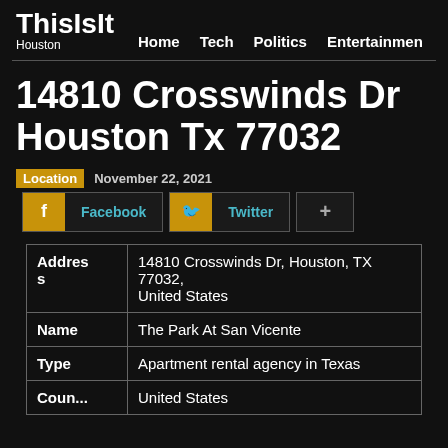ThisIsIt Houston | Home | Tech | Politics | Entertainmen
14810 Crosswinds Dr Houston Tx 77032
Location   November 22, 2021
f Facebook   Twitter   +
|  |  |
| --- | --- |
| Address | 14810 Crosswinds Dr, Houston, TX 77032, United States |
| Name | The Park At San Vicente |
| Type | Apartment rental agency in Texas |
| Coun... | United States |